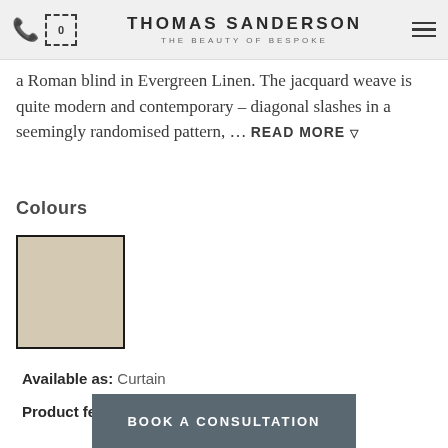THOMAS SANDERSON — THE BEAUTY OF BESPOKE
a Roman blind in Evergreen Linen. The jacquard weave is quite modern and contemporary – diagonal slashes in a seemingly randomised pattern, ... READ MORE
Colours
[Figure (other): Colour swatch showing a beige/linen fabric sample in a black border square]
Available as: Curtain
Product features: UK-made
ORDER A SAMPLE ▶
BOOK A CONSULTATION